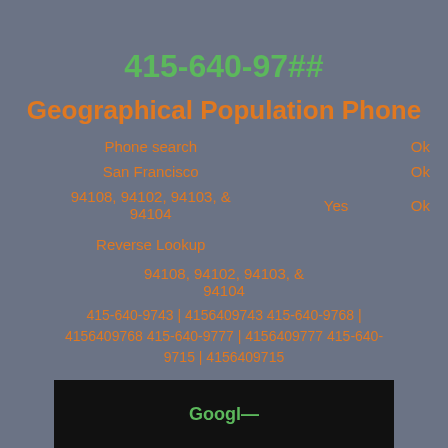415-640-97##
Geographical Population Phone
|  |  | Ok |
| --- | --- | --- |
| Phone search |  | Ok |
| San Francisco |  | Ok |
| 94108, 94102, 94103, & 94104 | Yes | Ok |
| Reverse Lookup |  |  |
94108, 94102, 94103, & 94104
415-640-9743 | 4156409743 415-640-9768 | 4156409768 415-640-9777 | 4156409777 415-640-9715 | 4156409715
[Figure (screenshot): Black bar at bottom with green text partially visible]